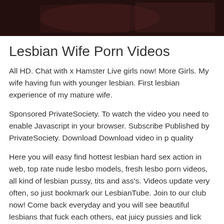[Figure (photo): Dark/partially visible photo at top of page]
Lesbian Wife Porn Videos
All HD. Chat with x Hamster Live girls now! More Girls. My wife having fun with younger lesbian. First lesbian experience of my mature wife.
Sponsored PrivateSociety. To watch the video you need to enable Javascript in your browser. Subscribe Published by PrivateSociety. Download Download video in p quality
Here you will easy find hottest lesbian hard sex action in web, top rate nude lesbo models, fresh lesbo porn videos, all kind of lesbian pussy, tits and ass's. Videos update very often, so just bookmark our LesbianTube. Join to our club now! Come back everyday and you will see beautiful lesbians that fuck each others, eat juicy pussies and lick sweet asses. We do not own, produce any videos displayed on this website. We...